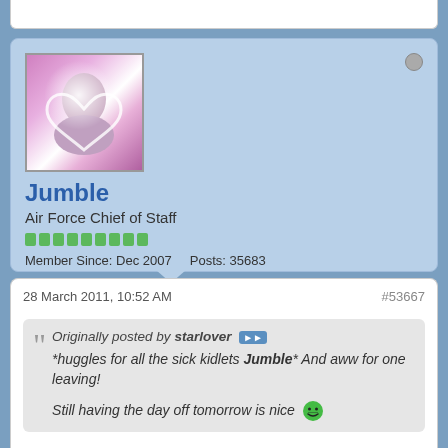Jumble
Air Force Chief of Staff
Member Since: Dec 2007   Posts: 35683
28 March 2011, 10:52 AM   #53667
Originally posted by starlover
*huggles for all the sick kidlets Jumble* And aww for one leaving!

Still having the day off tomorrow is nice
Thanks  And yes, a day off is always welcome.......... except I've just heard that Jess has gastric 'flu and won't